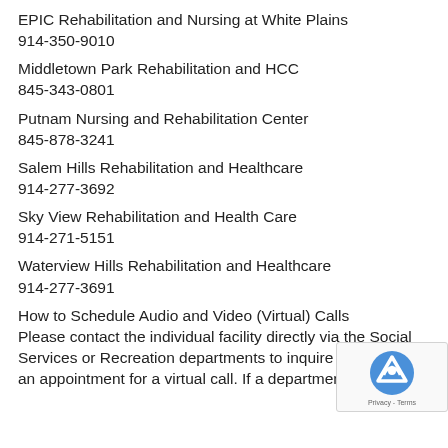EPIC Rehabilitation and Nursing at White Plains
914-350-9010
Middletown Park Rehabilitation and HCC
845-343-0801
Putnam Nursing and Rehabilitation Center
845-878-3241
Salem Hills Rehabilitation and Healthcare
914-277-3692
Sky View Rehabilitation and Health Care
914-271-5151
Waterview Hills Rehabilitation and Healthcare
914-277-3691
How to Schedule Audio and Video (Virtual) Calls
Please contact the individual facility directly via the Social Services or Recreation departments to inquire or schedule an appointment for a virtual call. If a department st